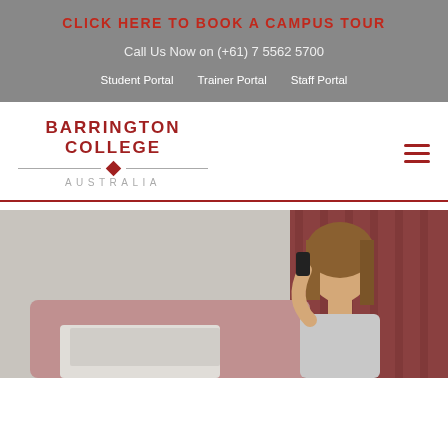CLICK HERE TO BOOK A CAMPUS TOUR
Call Us Now on (+61) 7 5562 5700
Student Portal   Trainer Portal   Staff Portal
[Figure (logo): Barrington College Australia logo with red text, horizontal lines with diamond separator, and grey 'AUSTRALIA' subtitle]
[Figure (photo): Woman sitting at a laptop while talking on a phone, with a blurred pink/red background]